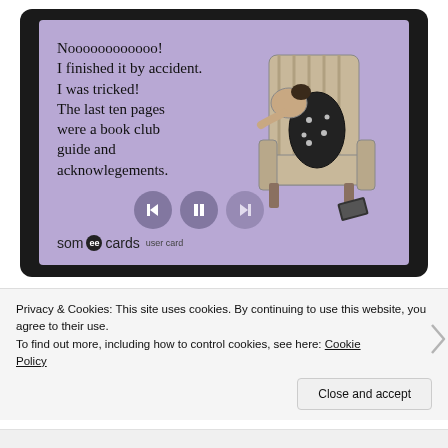[Figure (illustration): A someecards user card with purple/lavender background showing text 'Noooooooooooo! I finished it by accident. I was tricked! The last ten pages were a book club guide and acknowlegements.' with an illustration of a woman slumped over in an armchair, with media player control buttons (back, pause, forward) overlaid]
Privacy & Cookies: This site uses cookies. By continuing to use this website, you agree to their use.
To find out more, including how to control cookies, see here: Cookie Policy
Close and accept